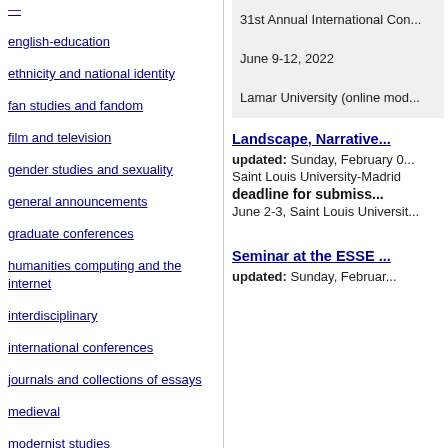english-education
ethnicity and national identity
fan studies and fandom
film and television
gender studies and sexuality
general announcements
graduate conferences
humanities computing and the internet
interdisciplinary
international conferences
journals and collections of essays
medieval
modernist studies
31st Annual International Con... June 9-12, 2022 Lamar University (online mod...
Landscape, Narrative...
updated: Sunday, February 0...
Saint Louis University-Madrid
deadline for submiss...
June 2-3, Saint Louis Universit...
Seminar at the ESSE ...
updated: Sunday, Februar...